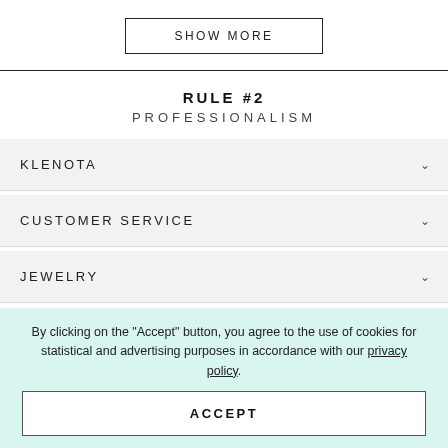SHOW MORE
RULE #2
PROFESSIONALISM
KLENOTA
CUSTOMER SERVICE
JEWELRY
INTERNATIONAL
By clicking on the "Accept" button, you agree to the use of cookies for statistical and advertising purposes in accordance with our privacy policy.
ACCEPT